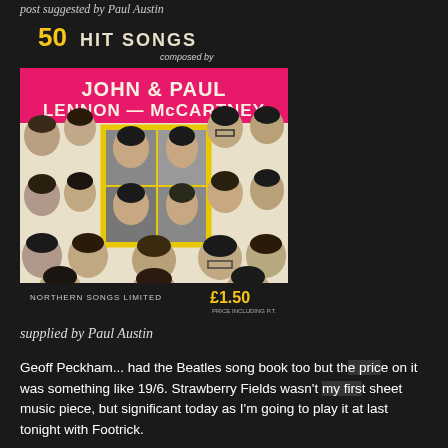post suggested by Paul Austin
[Figure (photo): Cover of '50 Hit Songs composed by John & Paul Lennon-McCartney, Recorded by [various artists], Northern Songs Limited, £1.50' — a songbook cover with pink/yellow banner and grid of black-and-white portrait photos of pop artists from the 1960s]
supplied by Paul Austin
Geoff Peckham...  had the Beatles song book too but the price on it was something like 19/6. Strawberry Fields wasn't my first sheet music piece, but significant today as I'm going to play it at last tonight with Footrick.